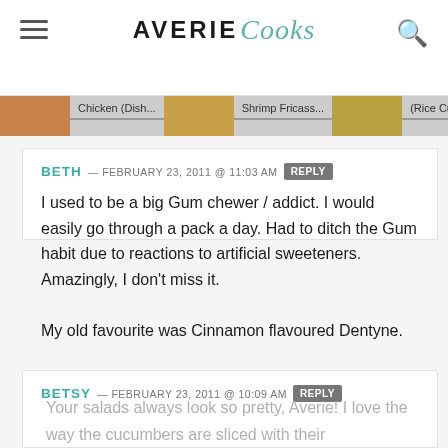AVERIE Cooks
[Figure (photo): Horizontal strip of food thumbnail images with labels: Chicken (dish..., Shrimp Fricass..., (Rice Curr...)]
BETH — FEBRUARY 23, 2011 @ 11:03 AM [REPLY]
I used to be a big Gum chewer / addict. I would easily go through a pack a day. Had to ditch the Gum habit due to reactions to artificial sweeteners. Amazingly, I don't miss it.

My old favourite was Cinnamon flavoured Dentyne.
BETSY — FEBRUARY 23, 2011 @ 10:09 AM [REPLY]
Your salads always look so pretty, Averie! I love the way the cucumbers are sliced with their